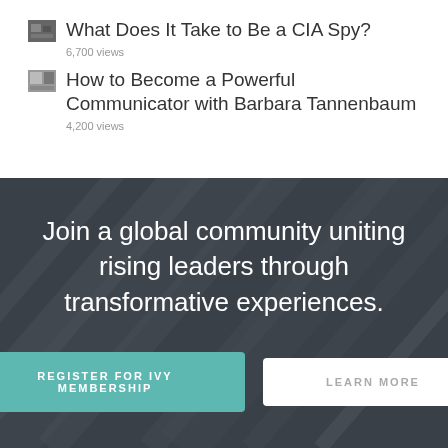What Does It Take to Be a CIA Spy?
6,700 views
How to Become a Powerful Communicator with Barbara Tannenbaum
4,200 views
[Figure (infographic): Dark background promotional section with diagonal geometric patterns, white text 'Join a global community uniting rising leaders through transformative experiences.' and two buttons: 'REGISTER FOR IVY MEMBERSHIP' (teal) and 'LEARN MORE' (white)]